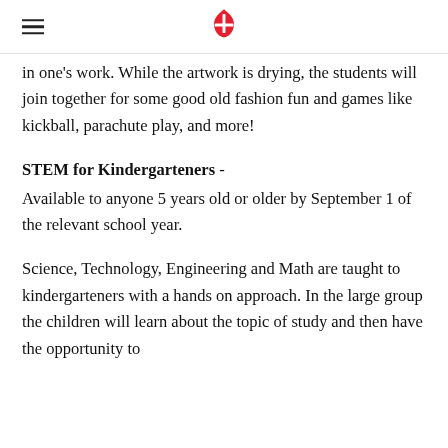[United Methodist Church logo]
in one's work.  While the artwork is drying, the students will join together for some good old fashion fun and games like kickball, parachute play, and more!
STEM for Kindergarteners -
Available to anyone 5 years old or older by September 1 of the relevant school year.
Science, Technology, Engineering and Math are taught to kindergarteners with a hands on approach. In the large group the children will learn about the topic of study and then have the opportunity to